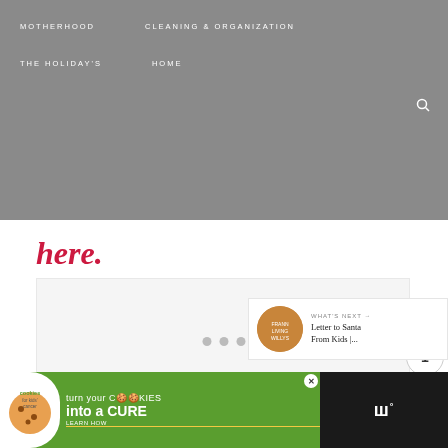MOTHERHOOD   CLEANING & ORGANIZATION   THE HOLIDAY'S   HOME
here.
[Figure (photo): Light gray blank image placeholder with dot navigation indicators at bottom]
WHAT'S NEXT → Letter to Santa From Kids |...
[Figure (screenshot): Advertisement banner: cookies for kids cancer - turn your cookies into a CURE LEARN HOW]